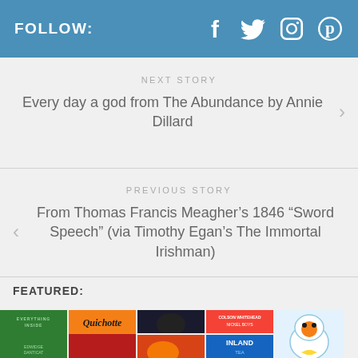FOLLOW: [facebook] [twitter] [instagram] [pinterest]
NEXT STORY
Every day a god from The Abundance by Annie Dillard
PREVIOUS STORY
From Thomas Francis Meagher’s 1846 “Sword Speech” (via Timothy Egan’s The Immortal Irishman)
FEATURED:
[Figure (photo): Grid of book covers including Everything Inside by Edwidge Danticat, Quichotte, a dark dog cover, Colson Whitehead Inland Tea, and a cartoon penguin character]